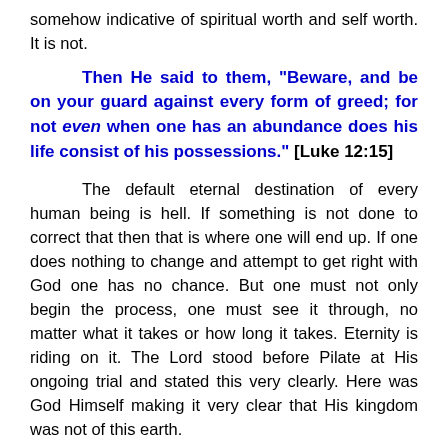somehow indicative of spiritual worth and self worth. It is not.
Then He said to them, “Beware, and be on your guard against every form of greed; for not even when one has an abundance does his life consist of his possessions.” [Luke 12:15]
The default eternal destination of every human being is hell. If something is not done to correct that then that is where one will end up. If one does nothing to change and attempt to get right with God one has no chance. But one must not only begin the process, one must see it through, no matter what it takes or how long it takes. Eternity is riding on it. The Lord stood before Pilate at His ongoing trial and stated this very clearly. Here was God Himself making it very clear that His kingdom was not of this earth.